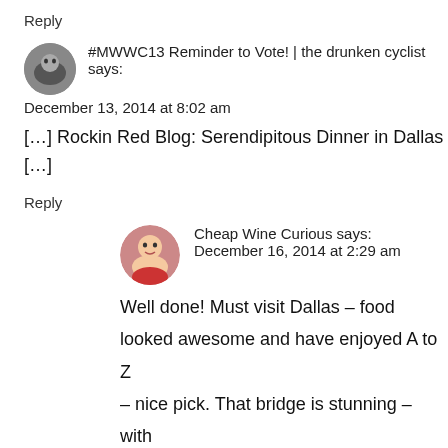Reply
#MWWC13 Reminder to Vote! | the drunken cyclist says:
December 13, 2014 at 8:02 am
[…] Rockin Red Blog: Serendipitous Dinner in Dallas […]
Reply
Cheap Wine Curious says:
December 16, 2014 at 2:29 am
Well done! Must visit Dallas – food looked awesome and have enjoyed A to Z – nice pick. That bridge is stunning – with so much to admire, the food and wine,